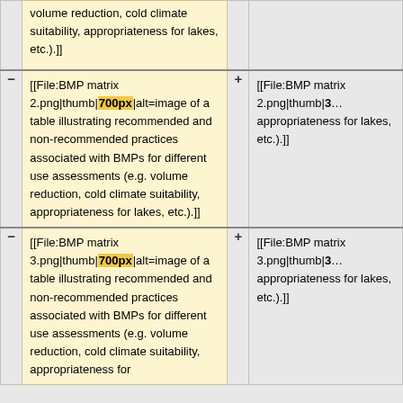|  | volume reduction, cold climate suitability, appropriateness for lakes, etc.).]] |  |  |
| - | [[File:BMP matrix 2.png|thumb|700px|alt=image of a table illustrating recommended and non-recommended practices associated with BMPs for different use assessments (e.g. volume reduction, cold climate suitability, appropriateness for lakes, etc.).]] | + | [[File:BMP matrix 2.png|thumb|3... appropriateness for lakes, etc.).]] |
| - | [[File:BMP matrix 3.png|thumb|700px|alt=image of a table illustrating recommended and non-recommended practices associated with BMPs for different use assessments (e.g. volume reduction, cold climate suitability, appropriateness for | + | [[File:BMP matrix 3.png|thumb|3... appropriateness for lakes, etc.).]] |